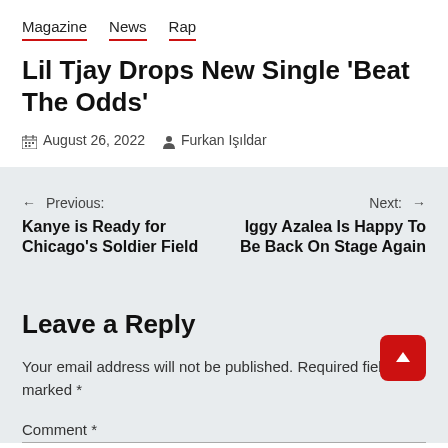Magazine  News  Rap
Lil Tjay Drops New Single 'Beat The Odds'
August 26, 2022  Furkan Işıldar
Previous: Kanye is Ready for Chicago's Soldier Field
Next: Iggy Azalea Is Happy To Be Back On Stage Again
Leave a Reply
Your email address will not be published. Required fields are marked *
Comment *